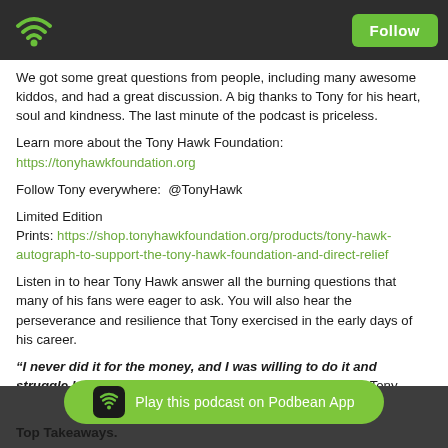Podbean app header with wifi logo and Follow button
We got some great questions from people, including many awesome kiddos, and had a great discussion. A big thanks to Tony for his heart, soul and kindness.  The last minute of the podcast is priceless.
Learn more about the Tony Hawk Foundation: https://tonyhawkfoundation.org
Follow Tony everywhere:  @TonyHawk
Limited Edition Prints: https://shop.tonyhawkfoundation.org/products/tony-hawk-autograph-to-support-the-tony-hawk-foundation-and-direct-relief
Listen in to hear Tony Hawk answer all the burning questions that many of his fans were eager to ask. You will also hear the perseverance and resilience that Tony exercised in the early days of his career.
“I never did it for the money, and I was willing to do it and struggle because that brought me so much happiness”- Tony Hawk
Top Takeaways.
[Figure (other): Play this podcast on Podbean App button with wifi icon]